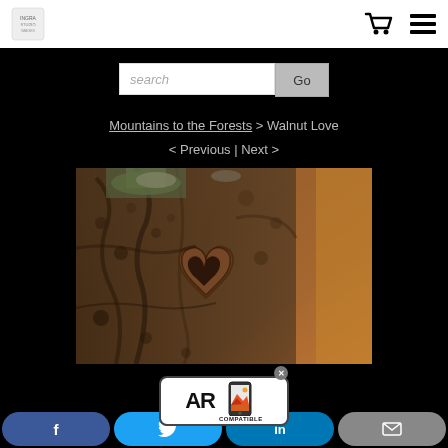Site logo and navigation icons (cart, list)
search  Go
Mountains to the Forests > Walnut Love
< Previous | Next >
[Figure (photo): Close-up photograph of a walnut tree trunk bark showing a heart-shaped knot in the wood grain, with moss-covered rough bark texture in brown and grey tones, blurred warm background.]
[Figure (logo): AR Compatible badge — white rectangle with rounded corners showing bold 'AR' text, a smartphone icon with mountain/sun image, and 'COMPATIBLE' text below, with a grey close button.]
f  (Facebook share)
(Twitter share)
in (LinkedIn share)
(Email share)